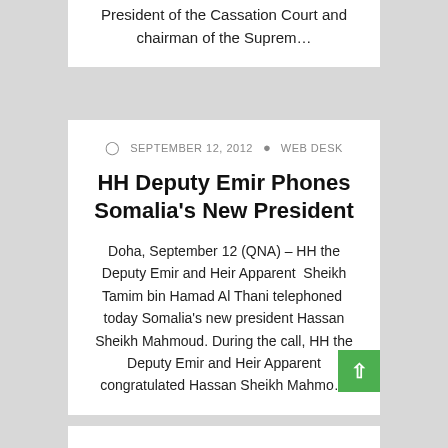President of the Cassation Court and chairman of the Suprem…
SEPTEMBER 12, 2012  WEB DESK
HH Deputy Emir Phones Somalia's New President
Doha, September 12 (QNA) – HH the Deputy Emir and Heir Apparent  Sheikh Tamim bin Hamad Al Thani telephoned  today Somalia's new president Hassan Sheikh Mahmoud. During the call, HH the Deputy Emir and Heir Apparent congratulated Hassan Sheikh Mahmo…